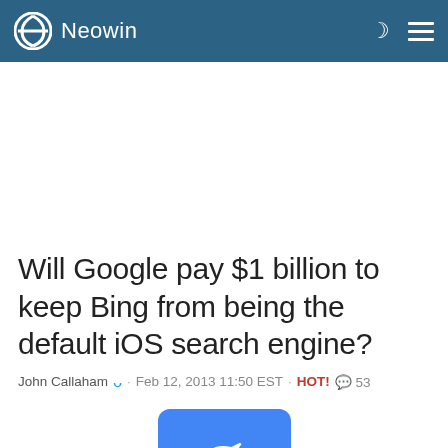Neowin
Will Google pay $1 billion to keep Bing from being the default iOS search engine?
John Callaham · Feb 12, 2013 11:50 EST · HOT! 53
[Figure (logo): Google 'G' logo icon in blue rounded rectangle]